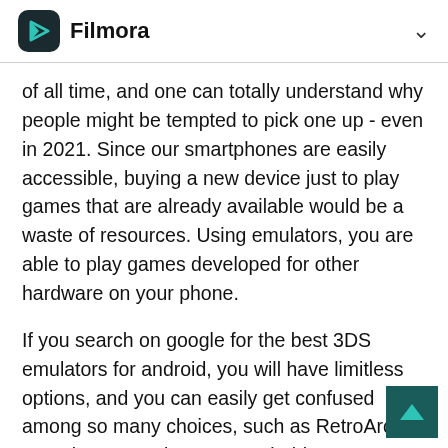Filmora
of all time, and one can totally understand why people might be tempted to pick one up - even in 2021. Since our smartphones are easily accessible, buying a new device just to play games that are already available would be a waste of resources. Using emulators, you are able to play games developed for other hardware on your phone.
If you search on google for the best 3DS emulators for android, you will have limitless options, and you can easily get confused among so many choices, such as RetroArch, DraStic DS Emulator, NDS4droid, etc. We are lending you a helping hand as we have prepared a list of top 10 3ds emulators that you can use on your android smartphones and have the classic gaming